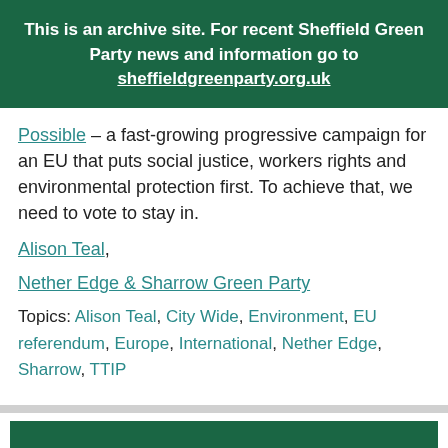This is an archive site. For recent Sheffield Green Party news and information go to sheffieldgreenparty.org.uk
Possible – a fast-growing progressive campaign for an EU that puts social justice, workers rights and environmental protection first. To achieve that, we need to vote to stay in.
Alison Teal,
Nether Edge & Sharrow Green Party
Topics: Alison Teal, City Wide, Environment, EU referendum, Europe, International, Nether Edge, Sharrow, TTIP
BROWSE THE ARCHIVES